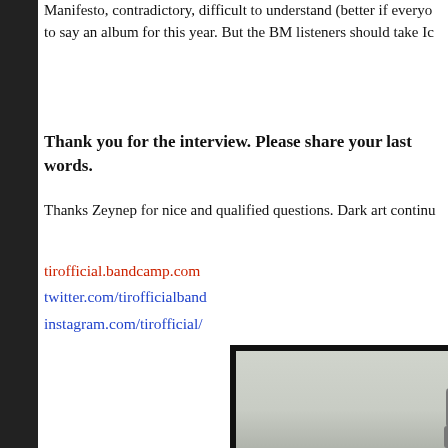Manifesto, contradictory, difficult to understand (better if everyo... to say an album for this year. But the BM listeners should take Ic...
Thank you for the interview. Please share your last words.
Thanks Zeynep for nice and qualified questions. Dark art continu...
tirofficial.bandcamp.com
twitter.com/tirofficialband
instagram.com/tirofficial/
[Figure (photo): A photo inside a black frame showing a person outdoors against a light sky/landscape background]